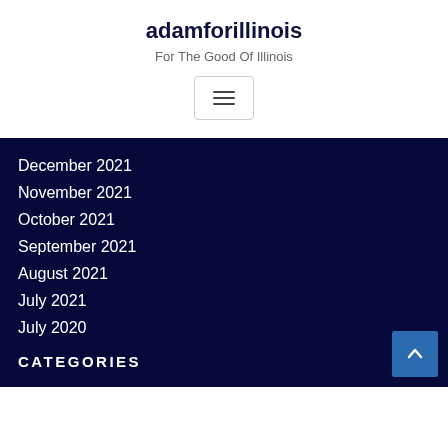adamforillinois
For The Good Of Illinois
December 2021
November 2021
October 2021
September 2021
August 2021
July 2021
July 2020
CATEGORIES